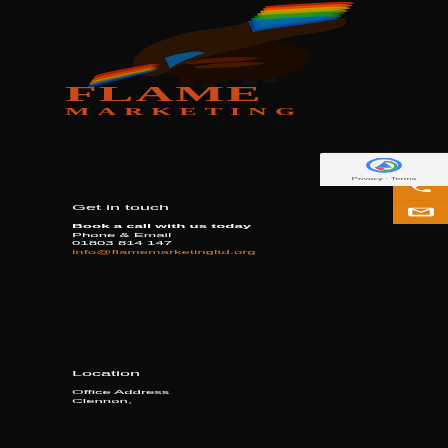[Figure (logo): Flame Marketing logo with colorful running horse (rainbow colors: red, orange, yellow, green, blue) on black background, below which FLAME MARKETING text in dark red/burnt orange serif font]
Get in touch
Book a call with us today
Phone & Email
01803 814 147
info@flamemarketingltd.org
Location
Office Address
Clennon,